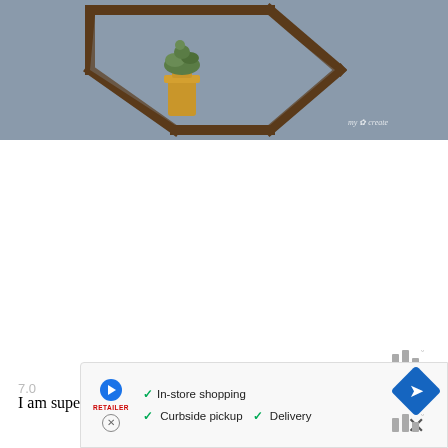[Figure (photo): A wooden hexagonal shelf mounted on a gray wall, with a small succulent plant in a mustard-yellow vase inside the shelf. A watermark reading 'my 3 create' is visible in the bottom right of the image.]
I am super glad I did both, but I am thinking I could even use a
[Figure (other): An advertisement banner showing in-store shopping, curbside pickup, and delivery options with a retailer logo, navigation icon, and a close button. Mediavine ad indicator icons are visible.]